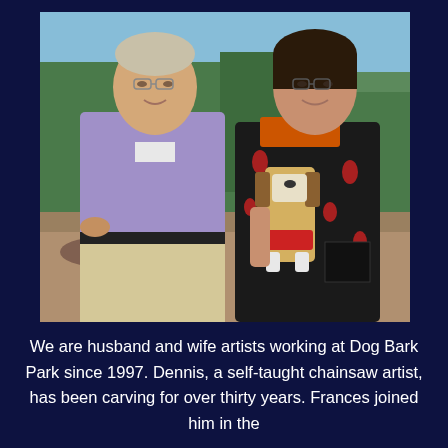[Figure (photo): A man and woman standing outdoors with a mountain/forested background. The man is on the left wearing a purple long-sleeve shirt and khaki pants. The woman on the right is wearing a black cardigan with red floral pattern over an orange turtleneck and is holding a small wooden carved dog figurine (beagle). They are smiling.]
We are husband and wife artists working at Dog Bark Park since 1997. Dennis, a self-taught chainsaw artist, has been carving for over thirty years. Frances joined him in the